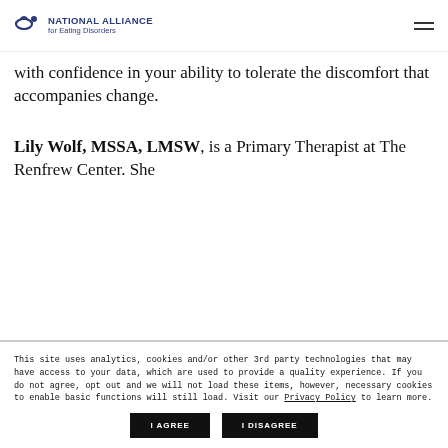National Alliance for Eating Disorders
with confidence in your ability to tolerate the discomfort that accompanies change.
Lily Wolf, MSSA, LMSW, is a Primary Therapist at The Renfrew Center. She
This site uses analytics, cookies and/or other 3rd party technologies that may have access to your data, which are used to provide a quality experience. If you do not agree, opt out and we will not load these items, however, necessary cookies to enable basic functions will still load. Visit our Privacy Policy to learn more.
I AGREE
I DISAGREE